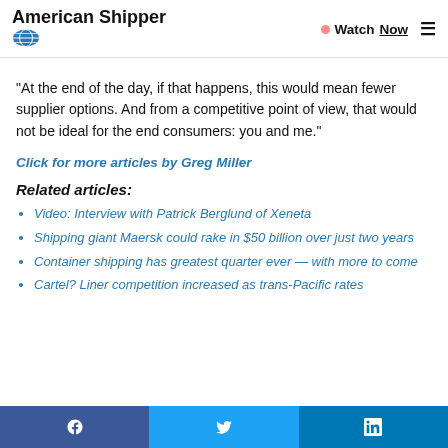American Shipper — Watch Now
"At the end of the day, if that happens, this would mean fewer supplier options. And from a competitive point of view, that would not be ideal for the end consumers: you and me."
Click for more articles by Greg Miller
Related articles:
Video: Interview with Patrick Berglund of Xeneta
Shipping giant Maersk could rake in $50 billion over just two years
Container shipping has greatest quarter ever — with more to come
Cartel? Liner competition increased as trans-Pacific rates